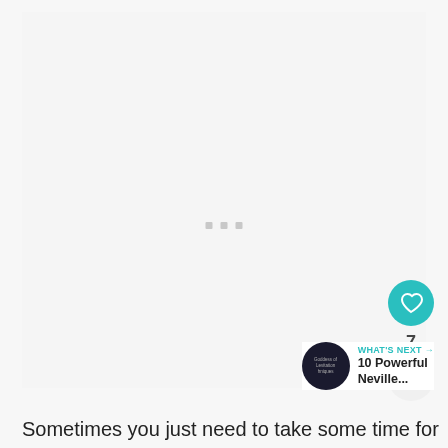[Figure (screenshot): Mostly blank/loading web page area with three small gray squares (loading dots) centered around y=210]
[Figure (infographic): Heart (like) button in teal circle, like count '7', and share button (gray circle with share icon) stacked vertically on the right side]
[Figure (infographic): WHAT'S NEXT arrow label in teal, with circular dark thumbnail image and '10 Powerful Neville...' text next to it]
Sometimes you just need to take some time for